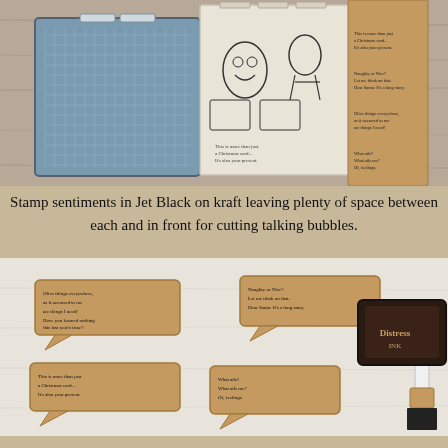[Figure (photo): Photo of craft/stamping supplies including a stamp block with grid, character stamps with owls and figures, and a brown kraft paper strip with stamped sentiments.]
Stamp sentiments in Jet Black on kraft leaving plenty of space between each and in front for cutting talking bubbles.
[Figure (photo): Photo showing kraft paper speech bubble shapes with stamped sentiments, a white brush tool, and a dark ink pad on a white surface.]
Cut around top, right, and bottom of sentiment squarely, and cut a pointer in bottom left corner. Ink edges in Gathered Twigs and draw white line around the border of the bubble.
[Figure (photo): Partial photo at bottom showing stamping supplies similar to first photo.]